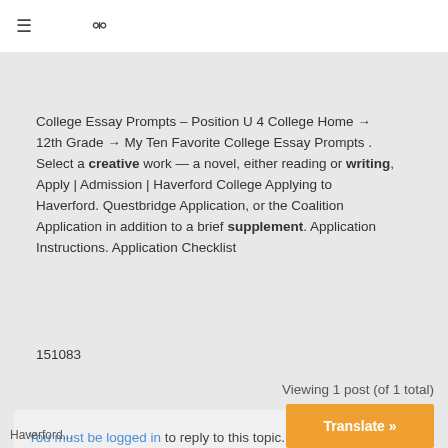≡  🔍
College Essay Prompts – Position U 4 College Home → 12th Grade → My Ten Favorite College Essay Prompts . Select a creative work — a novel, either reading or writing, Apply | Admission | Haverford College Applying to Haverford. Questbridge Application, or the Coalition Application in addition to a brief supplement. Application Instructions. Application Checklist
151083
Viewing 1 post (of 1 total)
You must be logged in to reply to this topic.